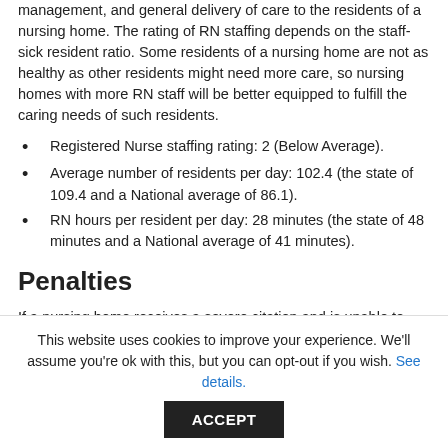management, and general delivery of care to the residents of a nursing home. The rating of RN staffing depends on the staff-sick resident ratio. Some residents of a nursing home are not as healthy as other residents might need more care, so nursing homes with more RN staff will be better equipped to fulfill the caring needs of such residents.
Registered Nurse staffing rating: 2 (Below Average).
Average number of residents per day: 102.4 (the state of 109.4 and a National average of 86.1).
RN hours per resident per day: 28 minutes (the state of 48 minutes and a National average of 41 minutes).
Penalties
If a nursing home receives a severe citation and is unable to improve it for some penalty is levied. This penalty
This website uses cookies to improve your experience. We'll assume you're ok with this, but you can opt-out if you wish. See details. ACCEPT